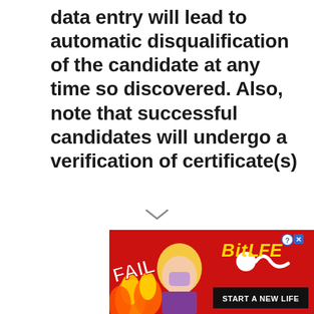data entry will lead to automatic disqualification of the candidate at any time so discovered. Also, note that successful candidates will undergo a verification of certificate(s)
[Figure (illustration): Advertisement banner for BitLife mobile game showing cartoon character, flames, 'FAIL' text, BitLife logo in yellow, and 'START A NEW LIFE' tagline on red background]